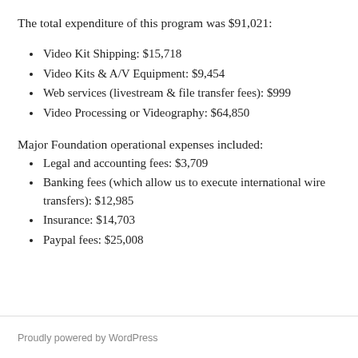The total expenditure of this program was $91,021:
Video Kit Shipping: $15,718
Video Kits & A/V Equipment: $9,454
Web services (livestream & file transfer fees): $999
Video Processing or Videography: $64,850
Major Foundation operational expenses included:
Legal and accounting fees: $3,709
Banking fees (which allow us to execute international wire transfers): $12,985
Insurance: $14,703
Paypal fees: $25,008
Proudly powered by WordPress